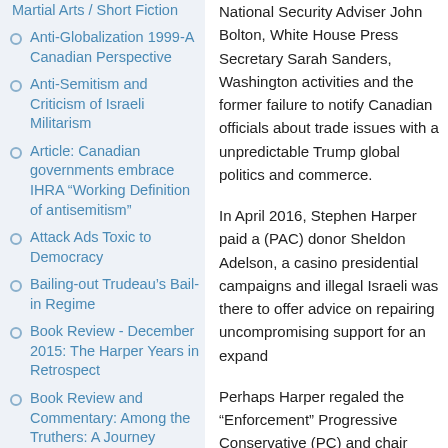Martial Arts / Short Fiction
Anti-Globalization 1999-A Canadian Perspective
Anti-Semitism and Criticism of Israeli Militarism
Article: Canadian governments embrace IHRA “Working Definition of antisemitism”
Attack Ads Toxic to Democracy
Bailing-out Trudeau's Bail-in Regime
Book Review - December 2015: The Harper Years in Retrospect
Book Review and Commentary: Among the Truthers: A Journey Through America's Growing Conspiracist Underground
National Security Adviser John Bolton, White House Press Secretary Sarah Sanders, Washington activities and the former... failure to notify Canadian officials ab... trade issues with a unpredictable Tru... global politics and commerce.
In April 2016, Stephen Harper paid a... (PAC) donor Sheldon Adelson, a cas... presidential campaigns and illegal Is... was there to offer advice on repairing... uncompromising support for an expa...
Perhaps Harper regaled the “Enforce... Progressive Conservative (PC) and c... candidate David Orchard, Stephen H... written agreement with Orchard not t... has been justified by those who bene...
More disturbing is Harper's resurfaci... gaining legitimacy in Europe and the... (IDU), Stephen Harper offered victor... Hungary's anti-immigrant leader who...